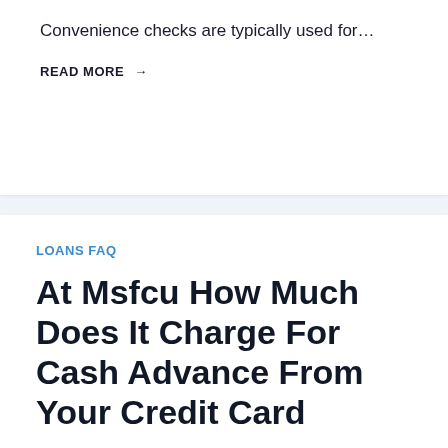Convenience checks are typically used for…
READ MORE →
LOANS FAQ
At Msfcu How Much Does It Charge For Cash Advance From Your Credit Card
By Adam Jenkins • May 17, 2022
Visa Credit Card Options MSUFCU has three